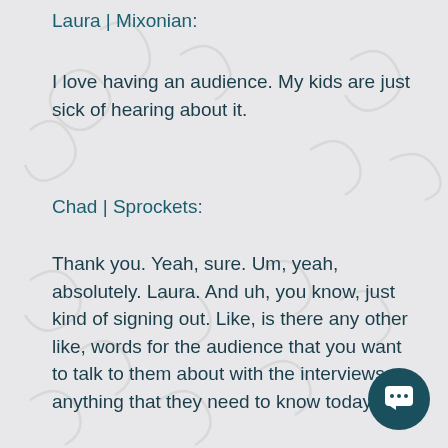Laura | Mixonian:
I love having an audience. My kids are just sick of hearing about it.
Chad | Sprockets:
Thank you. Yeah, sure. Um, yeah, absolutely. Laura. And uh, you know, just kind of signing out. Like, is there any other like, words for the audience that you want to talk to them about with the interviews or anything that they need to know today?